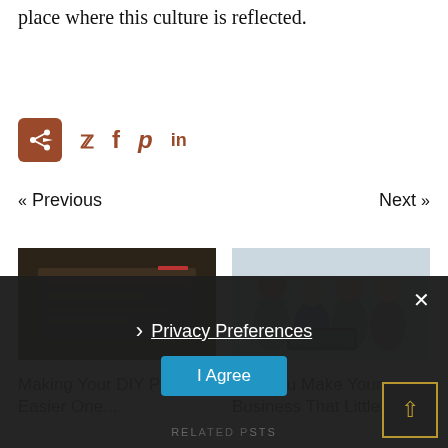place where this culture is reflected.
[Figure (other): Social share bar with share icon box, Twitter bird, Facebook f, Pinterest p, LinkedIn in icons]
« Previous    Next »
[Figure (photo): Photo of books/papers on a desk (dark tones)]
Making Your DIY Projects Easier One...
[Figure (photo): Photo of a group of people smiling around a laptop]
Can You Make Your Business That Little
[Figure (other): Cookie consent banner overlay with Privacy Preferences link, I Agree button, and close X button]